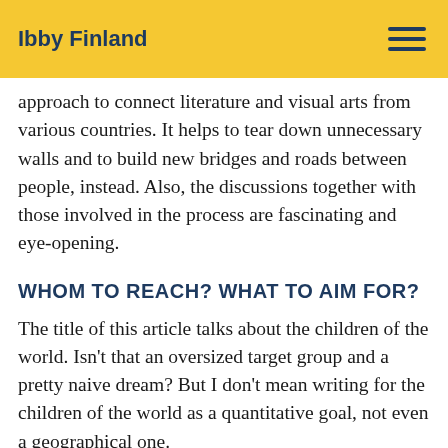Ibby Finland
approach to connect literature and visual arts from various countries. It helps to tear down unnecessary walls and to build new bridges and roads between people, instead. Also, the discussions together with those involved in the process are fascinating and eye-opening.
WHOM TO REACH? WHAT TO AIM FOR?
The title of this article talks about the children of the world. Isn't that an oversized target group and a pretty naive dream? But I don't mean writing for the children of the world as a quantitative goal, not even a geographical one.